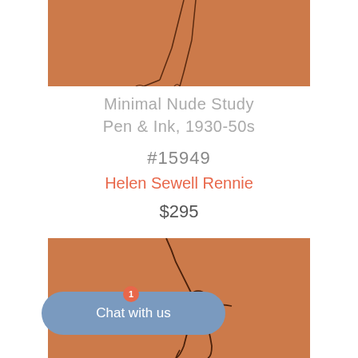[Figure (illustration): Partial view of a figure study drawing — feet and lower legs — pen/ink on terracotta/orange-brown paper background, cropped at top]
Minimal Nude Study
Pen & Ink, 1930-50s
#15949
Helen Sewell Rennie
$295
[Figure (illustration): Figure study drawing of a male figure with one arm raised, pen/ink on terracotta/orange-brown paper. Minimal line art style.]
Chat with us